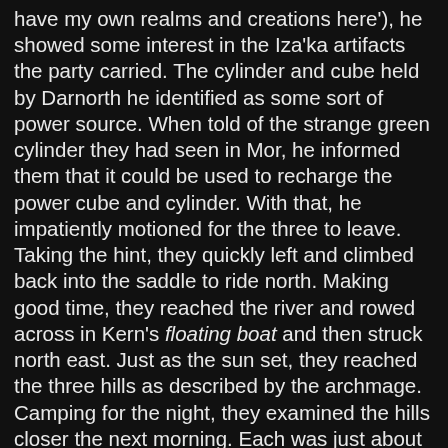have my own realms and creations here'), he showed some interest in the Iza'ka artifacts the party carried. The cylinder and cube held by Darnorth he identified as some sort of power source. When told of the strange green cylinder they had seen in Mor, he informed them that it could be used to recharge the power cube and cylinder. With that, he impatiently motioned for the three to leave. Taking the hint, they quickly left and climbed back into the saddle to ride north. Making good time, they reached the river and rowed across in Kern's floating boat and then struck north east. Just as the sun set, they reached the three hills as described by the archmage. Camping for the night, they examined the hills closer the next morning. Each was just about a hundred or so feet high, and on two could be seen some kind of posts or pillars. Climbing the bare hill first, Darnoth noted it was not natural, but seemed to be a man-made mound of dirt. A little digging confirmed this, but revealed little else. Climbing the next hill (this one natural according to the dwarf), they found at the top a large number of statues. These were all weather worn, and were placed in a circle around a central group of figures. They seemed to all be statues of men and women in arms and armor, and one of the figures in the centre had a hand with a ring extended and a crown on his head. Thinking that this might be the ring they sought, Darnorth tried to remove it. But it seemed part of the statue,